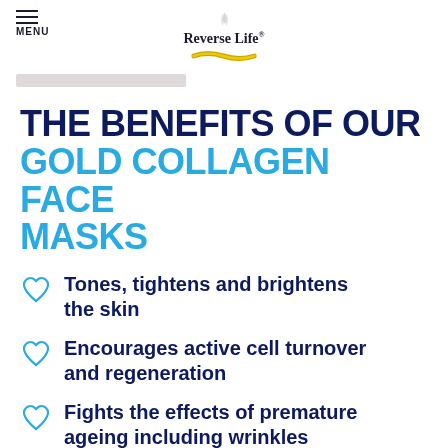MENU | Reverse Life®
THE BENEFITS OF OUR GOLD COLLAGEN FACE MASKS
Tones, tightens and brightens the skin
Encourages active cell turnover and regeneration
Fights the effects of premature ageing including wrinkles